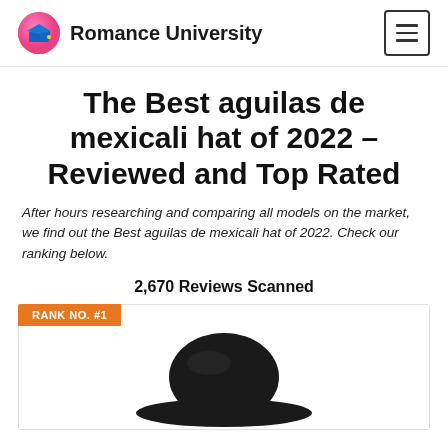Romance University
The Best aguilas de mexicali hat of 2022 – Reviewed and Top Rated
After hours researching and comparing all models on the market, we find out the Best aguilas de mexicali hat of 2022. Check our ranking below.
2,670 Reviews Scanned
RANK NO. #1
[Figure (photo): A dark/black hat (aguila de mexicali hat) shown from the top, rank #1 product image]